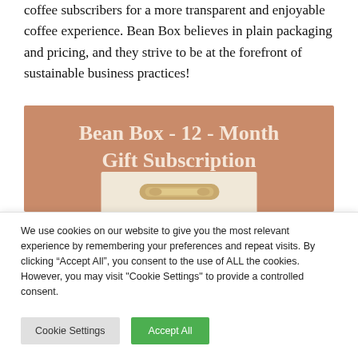coffee subscribers for a more transparent and enjoyable coffee experience. Bean Box believes in plain packaging and pricing, and they strive to be at the forefront of sustainable business practices!
[Figure (infographic): Promotional banner with terracotta/brown background showing bold white text 'Bean Box - 12 - Month Gift Subscription' with a partial image of coffee product packaging below]
We use cookies on our website to give you the most relevant experience by remembering your preferences and repeat visits. By clicking “Accept All”, you consent to the use of ALL the cookies. However, you may visit "Cookie Settings" to provide a controlled consent.